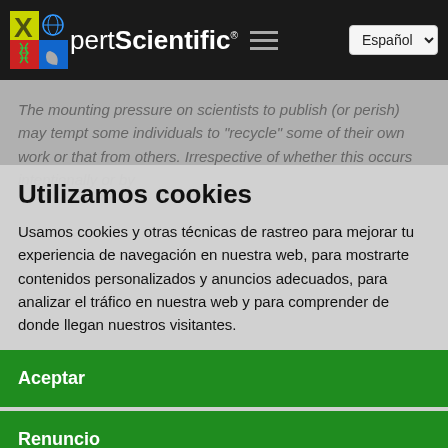XpertScientific — Español
The mounting pressure on scientists to publish (or perish) may tempt some individuals to "recycle" some of their own work or that from others. Irrespective of whether this occurs intentionally or by
Utilizamos cookies
Usamos cookies y otras técnicas de rastreo para mejorar tu experiencia de navegación en nuestra web, para mostrarte contenidos personalizados y anuncios adecuados, para analizar el tráfico en nuestra web y para comprender de donde llegan nuestros visitantes.
stems to detect plagiarism and you may inadvertently end up on some
Aceptar
Renuncio
Configurar
source. Tell where you can test your integral and knowledge.